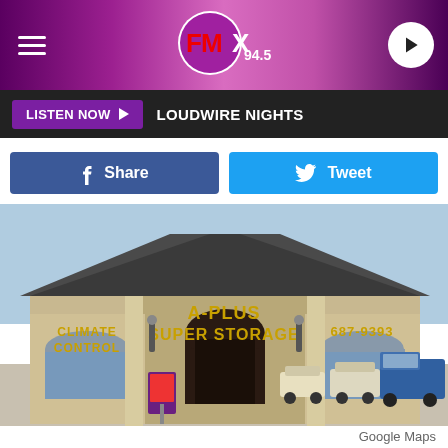FMX 94.5
LISTEN NOW ▶  LOUDWIRE NIGHTS
Share  Tweet
[Figure (photo): Street view of A-Plus Super Storage building with brick facade, showing signage for Climate Control, A-Plus Super Storage, and phone number 687-9393. Golf carts and a blue truck visible in parking lot.]
Google Maps
Café Alvarez